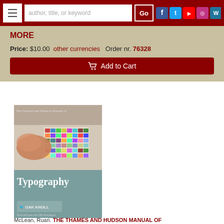author, title, or keyword | Go | [social icons]
MORE
Price: $10.00  other currencies  Order nr. 76328
Add to Cart
[Figure (photo): Book cover of The Thames and Hudson Manual of Typography by Ruari McLean, showing hands working with color swatches and typography materials. Published by Oak Knoll.]
McLean, Ruari. THE THAMES AND HUDSON MANUAL OF